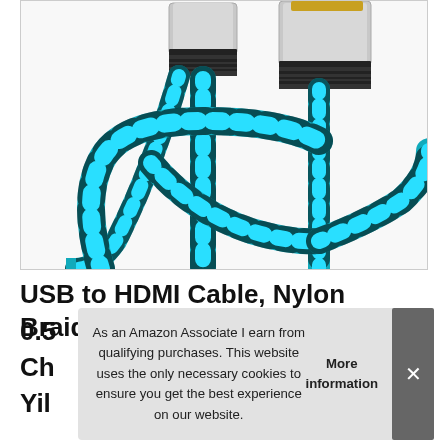[Figure (photo): Close-up photo of a blue and black nylon braided USB to HDMI cable with silver metal connectors and gold-tipped HDMI end]
USB to HDMI Cable, Nylon Braided
0.5
Ch
Yil
As an Amazon Associate I earn from qualifying purchases. This website uses the only necessary cookies to ensure you get the best experience on our website. More information